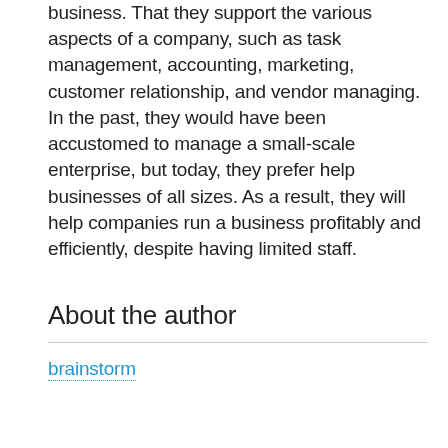business. That they support the various aspects of a company, such as task management, accounting, marketing, customer relationship, and vendor managing. In the past, they would have been accustomed to manage a small-scale enterprise, but today, they prefer help businesses of all sizes. As a result, they will help companies run a business profitably and efficiently, despite having limited staff.
About the author
brainstorm